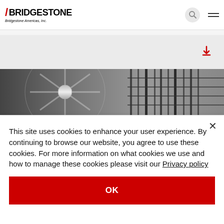[Figure (logo): Bridgestone Americas, Inc. logo with red slash mark]
[Figure (photo): Close-up photo of tire tread and wheel rim in grayscale]
This site uses cookies to enhance your user experience. By continuing to browse our website, you agree to use these cookies. For more information on what cookies we use and how to manage these cookies please visit our Privacy policy
OK